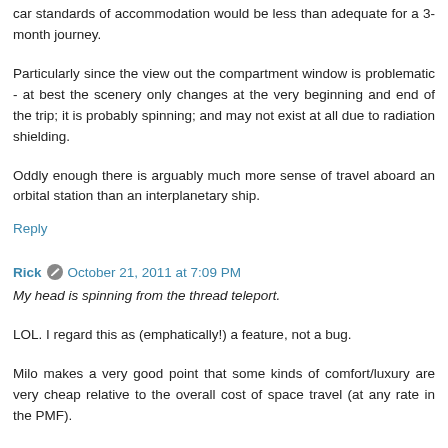car standards of accommodation would be less than adequate for a 3-month journey.
Particularly since the view out the compartment window is problematic - at best the scenery only changes at the very beginning and end of the trip; it is probably spinning; and may not exist at all due to radiation shielding.
Oddly enough there is arguably much more sense of travel aboard an orbital station than an interplanetary ship.
Reply
Rick   October 21, 2011 at 7:09 PM
My head is spinning from the thread teleport.
LOL. I regard this as (emphatically!) a feature, not a bug.
Milo makes a very good point that some kinds of comfort/luxury are very cheap relative to the overall cost of space travel (at any rate in the PMF).